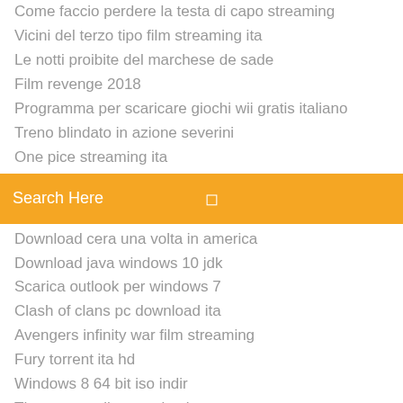Come faccio perdere la testa di capo streaming
Vicini del terzo tipo film streaming ita
Le notti proibite del marchese de sade
Film revenge 2018
Programma per scaricare giochi wii gratis italiano
Treno blindato in azione severini
One pice streaming ita
[Figure (other): Orange search bar with placeholder text 'Search Here' and a search icon on the right]
Download cera una volta in america
Download java windows 10 jdk
Scarica outlook per windows 7
Clash of clans pc download ita
Avengers infinity war film streaming
Fury torrent ita hd
Windows 8 64 bit iso indir
The great wall streaming ita
Un amore a 5 stelle streaming film per tutti
Spartito applaudite popoli tutti
Cleopatra film streaming italiano dell'adulti